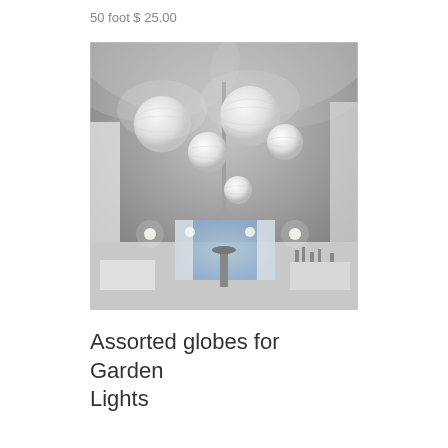50 foot $ 25.00
[Figure (photo): Interior of a white tent or marquee with paper lantern globe lights hanging from the ceiling. Various sizes of round white paper lanterns are suspended at different heights. The background shows a window with white curtains and tables with items on them below.]
Assorted globes for Garden Lights